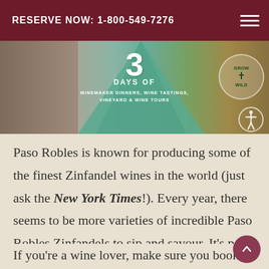RESERVE NOW: 1-800-549-7276
[Figure (photo): Banner image showing wine grapes on the left, a teal/green promotional overlay in the center reading '3 DAYS OF WINEMAKER DINNERS, WINE TASTINGS, VINEYARD & WINE TOURS', and the 'GROW WILD' logo badge on the right with a golden/amber vineyard background.]
Paso Robles is known for producing some of the finest Zinfandel wines in the world (just ask the New York Times!). Every year, there seems to be more varieties of incredible Paso Robles Zinfandels to sip and savour. It's part of the reason that Paso Robles Wine Country was named 2013 Wine Region of the Year by Wine Enthusiast!
If you're a wine lover, make sure you book at trip to